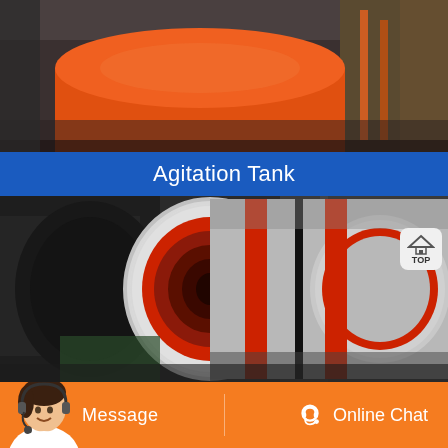[Figure (photo): Industrial orange cylindrical agitation tank in a factory/warehouse setting, viewed from a low angle showing the cylindrical body against a dark industrial background.]
Agitation Tank
[Figure (photo): Large industrial rotary drum or kiln with white and red painted cylindrical body, showing the circular end face with concentric rings, photographed in a manufacturing facility.]
[Figure (other): TOP navigation button with house/pyramid icon]
Message
Online Chat